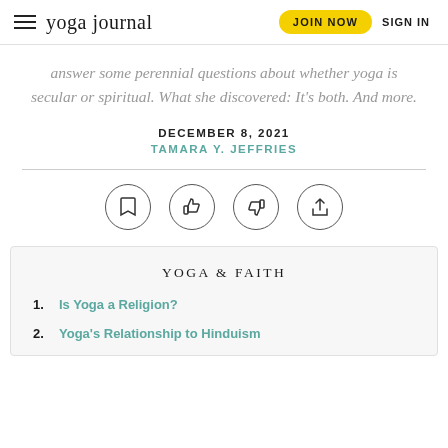yoga journal | JOIN NOW | SIGN IN
answer some perennial questions about whether yoga is secular or spiritual. What she discovered: It's both. And more.
DECEMBER 8, 2021
TAMARA Y. JEFFRIES
[Figure (infographic): Row of four circular icon buttons: bookmark, thumbs up, thumbs down, share]
YOGA & FAITH
1. Is Yoga a Religion?
2. Yoga's Relationship to Hinduism